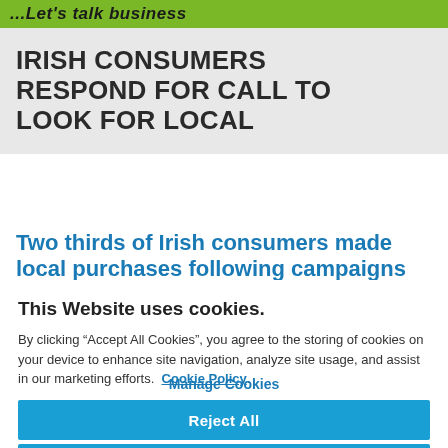...Let's talk business
IRISH CONSUMERS RESPOND FOR CALL TO LOOK FOR LOCAL
Two thirds of Irish consumers made local purchases following campaigns
This Website uses cookies.
By clicking “Accept All Cookies”, you agree to the storing of cookies on your device to enhance site navigation, analyze site usage, and assist in our marketing efforts.  Cookie Policy.
Manage Cookies
Reject All